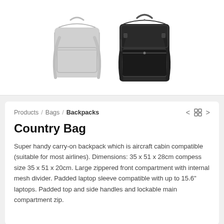[Figure (photo): Two backpack product images side by side: a light gray backpack on the left and a black backpack on the right]
Products / Bags / Backpacks
Country Bag
Super handy carry-on backpack which is aircraft cabin compatible (suitable for most airlines). Dimensions: 35 x 51 x 28cm compess size 35 x 51 x 20cm. Large zippered front compartment with internal mesh divider. Padded laptop sleeve compatible with up to 15.6" laptops. Padded top and side handles and lockable main compartment zip.